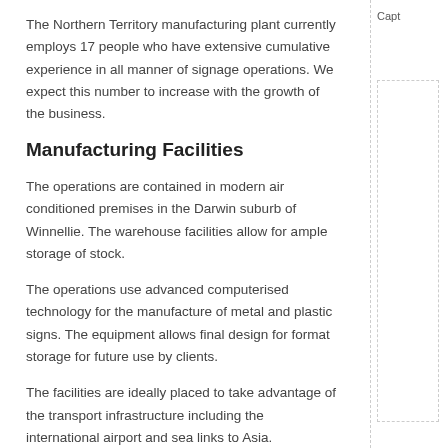The Northern Territory manufacturing plant currently employs 17 people who have extensive cumulative experience in all manner of signage operations. We expect this number to increase with the growth of the business.
Manufacturing Facilities
The operations are contained in modern air conditioned premises in the Darwin suburb of Winnellie. The warehouse facilities allow for ample storage of stock.
The operations use advanced computerised technology for the manufacture of metal and plastic signs. The equipment allows final design for format storage for future use by clients.
The facilities are ideally placed to take advantage of the transport infrastructure including the international airport and sea links to Asia.
back to top
Typical Use of Product
The product falls into the following uses.